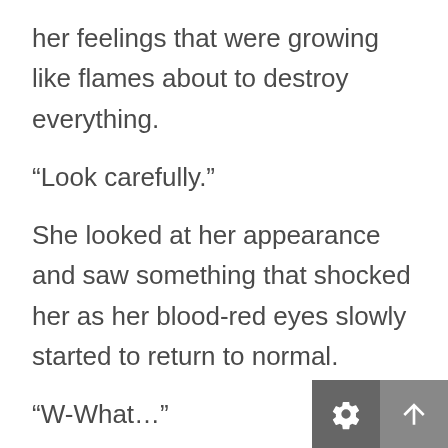her feelings that were growing like flames about to destroy everything.
“Look carefully.”
She looked at her appearance and saw something that shocked her as her blood-red eyes slowly started to return to normal.
“W-What…”
“The change in your eyes is just a temporary side effect.” Victor slowly released the young girl’s wrist and stepped